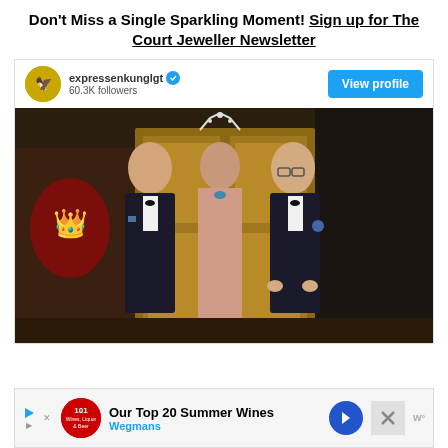Don't Miss a Single Sparkling Moment! Sign up for The Court Jeweller Newsletter
[Figure (screenshot): Twitter/social media widget showing expressenkunglgt account with 60.3K followers and View profile button, with a photo of three people (two men in tuxedos and a woman in pink lace dress wearing a tiara) at a formal event in an ornate room]
[Figure (screenshot): Advertisement bar: Our Top 20 Summer Wines - Wegmans, with play button, Wegmans logo, navigation arrow, and close button]